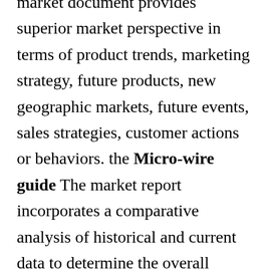market document provides superior market perspective in terms of product trends, marketing strategy, future products, new geographic markets, future events, sales strategies, customer actions or behaviors. the Micro-wire guide The market report incorporates a comparative analysis of historical and current data to determine the overall industry valuation and other related variables over the period 2018-2030. It further explores the crucial factors shaping the dynamics of the industry such as growth determinants, opportunities, and major